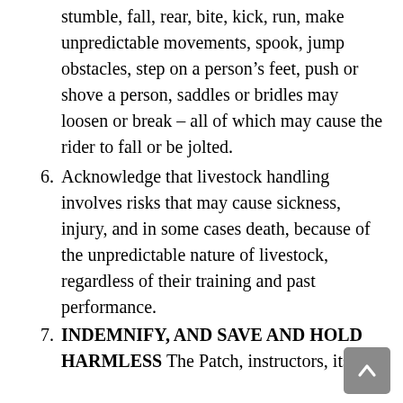stumble, fall, rear, bite, kick, run, make unpredictable movements, spook, jump obstacles, step on a person’s feet, push or shove a person, saddles or bridles may loosen or break – all of which may cause the rider to fall or be jolted.
6. Acknowledge that livestock handling involves risks that may cause sickness, injury, and in some cases death, because of the unpredictable nature of livestock, regardless of their training and past performance.
7. INDEMNIFY, AND SAVE AND HOLD HARMLESS The Patch, instructors, its